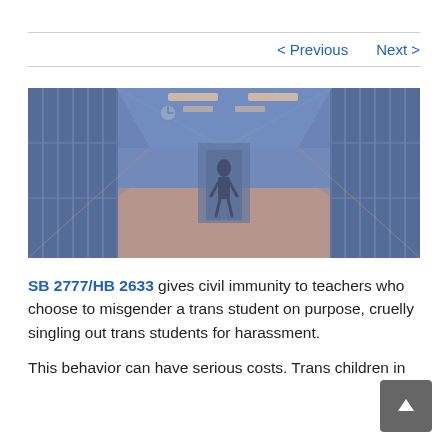< Previous   Next >
[Figure (photo): Blue and salmon/pink tinted photo of a school hallway with lockers on both sides and a lone student silhouette walking down the corridor. Overhead fluorescent lighting illuminates the hallway.]
SB 2777/HB 2633 gives civil immunity to teachers who choose to misgender a trans student on purpose, cruelly singling out trans students for harassment.
This behavior can have serious costs. Trans children in